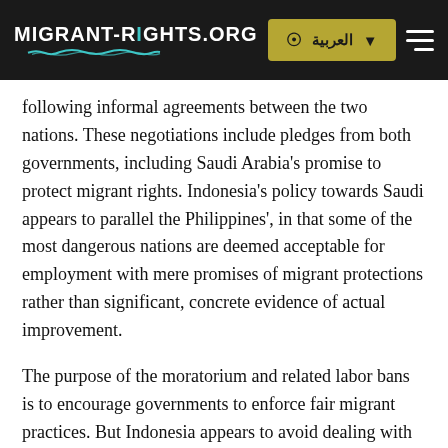MIGRANT-RIGHTS.ORG | العربية | [menu]
following informal agreements between the two nations. These negotiations include pledges from both governments, including Saudi Arabia's promise to protect migrant rights. Indonesia's policy towards Saudi appears to parallel the Philippines', in that some of the most dangerous nations are deemed acceptable for employment with mere promises of migrant protections rather than significant, concrete evidence of actual improvement.
The purpose of the moratorium and related labor bans is to encourage governments to enforce fair migrant practices. But Indonesia appears to avoid dealing with migrant-related laws specifically, and instead attempts to belatedly correct problems that the absence of enshrined protections create. For example, in September and October the Indonesians government issued travel documents for 4,550 illegal workers who absconded from abusive employers. Migrant